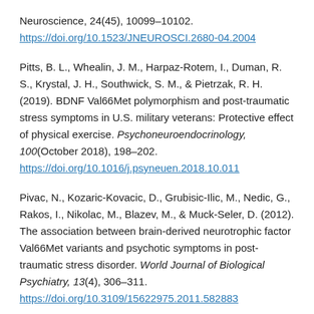Neuroscience, 24(45), 10099–10102. https://doi.org/10.1523/JNEUROSCI.2680-04.2004
Pitts, B. L., Whealin, J. M., Harpaz-Rotem, I., Duman, R. S., Krystal, J. H., Southwick, S. M., & Pietrzak, R. H. (2019). BDNF Val66Met polymorphism and post-traumatic stress symptoms in U.S. military veterans: Protective effect of physical exercise. Psychoneuroendocrinology, 100(October 2018), 198–202. https://doi.org/10.1016/j.psyneuen.2018.10.011
Pivac, N., Kozaric-Kovacic, D., Grubisic-Ilic, M., Nedic, G., Rakos, I., Nikolac, M., Blazev, M., & Muck-Seler, D. (2012). The association between brain-derived neurotrophic factor Val66Met variants and psychotic symptoms in post-traumatic stress disorder. World Journal of Biological Psychiatry, 13(4), 306–311. https://doi.org/10.3109/15622975.2011.582883